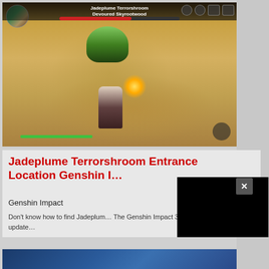[Figure (screenshot): Genshin Impact gameplay screenshot showing a character fighting the Jadeplume Terrorshroom boss on a sandy desert terrain. The boss name 'Jadeplume Terrorshroom / Devoured Skyrootwood' is shown at the top. A green creature and a player character are visible on the sandy ground.]
Jadeplume Terrorshroom Entrance Location Genshin I...
Genshin Impact
Don't know how to find Jadeplum... The Genshin Impact 3.0 update...
[Figure (screenshot): A black popup/modal overlay with a close (X) button, partially covering the article content below the game screenshot.]
[Figure (photo): Bottom strip of a blue-toned image, partially visible at the very bottom of the page.]